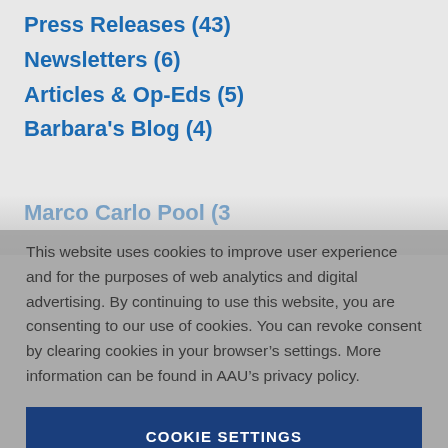Press Releases (43)
Newsletters (6)
Articles & Op-Eds (5)
Barbara's Blog (4)
Marco Carlo Dool (3) [partially obscured]
This website uses cookies to improve user experience and for the purposes of web analytics and digital advertising. By continuing to use this website, you are consenting to our use of cookies. You can revoke consent by clearing cookies in your browser's settings. More information can be found in AAU's privacy policy.
COOKIE SETTINGS
ACCEPT ALL